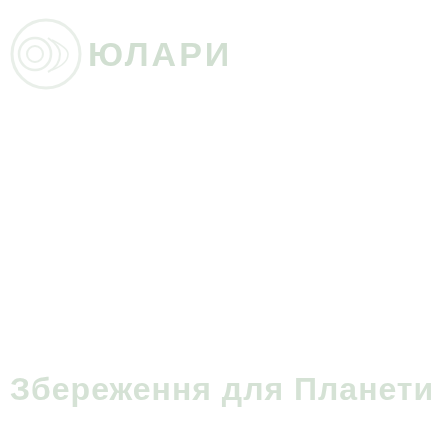[Figure (logo): Watermark logo with circular emblem and text reading ЮЛАРИ at top left of page]
Збереження для Планети (Saving for the Planet) watermark text at bottom of page